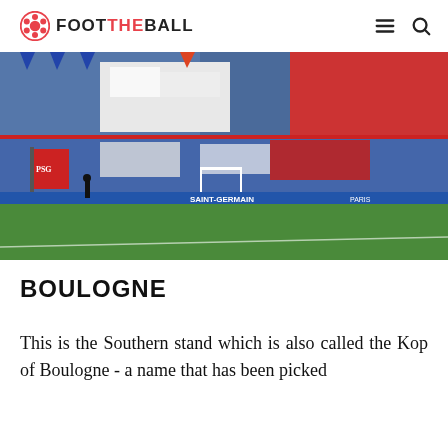FOOTBALLL (logo)
[Figure (photo): PSG stadium interior showing colorful fan tifo display with red, white, and blue sections in the stands. The pitch is visible with a PSG flag on the left, goalpost in the center, and SAINT-GERMAIN advertising boarding visible.]
BOULOGNE
This is the Southern stand which is also called the Kop of Boulogne - a name that has been picked